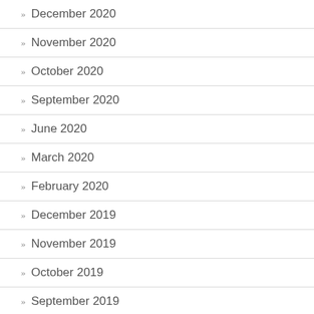» December 2020
» November 2020
» October 2020
» September 2020
» June 2020
» March 2020
» February 2020
» December 2019
» November 2019
» October 2019
» September 2019
» August 2019